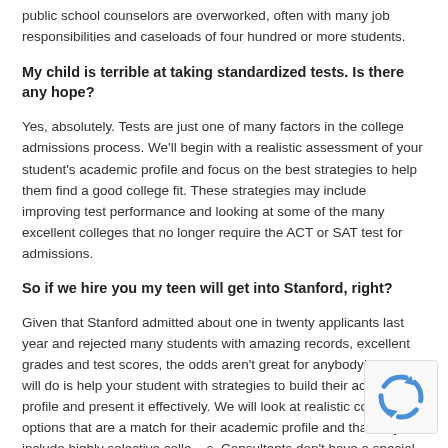public school counselors are overworked, often with many job responsibilities and caseloads of four hundred or more students.
My child is terrible at taking standardized tests. Is there any hope?
Yes, absolutely. Tests are just one of many factors in the college admissions process. We'll begin with a realistic assessment of your student's academic profile and focus on the best strategies to help them find a good college fit. These strategies may include improving test performance and looking at some of the many excellent colleges that no longer require the ACT or SAT test for admissions.
So if we hire you my teen will get into Stanford, right?
Given that Stanford admitted about one in twenty applicants last year and rejected many students with amazing records, excellent grades and test scores, the odds aren't great for anybody! What I will do is help your student with strategies to build their academic profile and present it effectively. We will look at realistic college options that are a match for their academic profile and that may include highly selective colleges. Consultants don't have a special “in” that will get students into a college rather the focus is on helping students develop awareness of